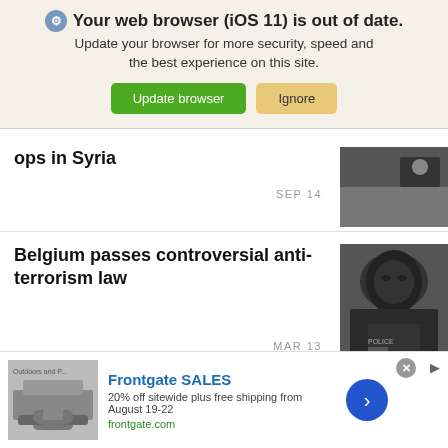Your web browser (iOS 11) is out of date. Update your browser for more security, speed and the best experience on this site.
ops in Syria
SEP 14
Belgium passes controversial anti-terrorism law
MAR 13
[Figure (photo): Person in tactical gear and black balaclava helmet]
Frontgate SALES
20% off sitewide plus free shipping from August 19-22
frontgate.com
[Figure (photo): Outdoor furniture with fire pit advertisement image]